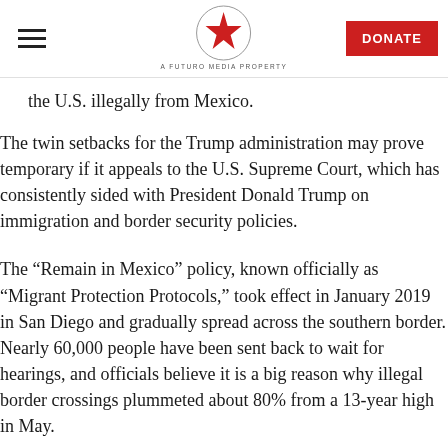A FUTURO MEDIA PROPERTY | DONATE
the U.S. illegally from Mexico.
The twin setbacks for the Trump administration may prove temporary if it appeals to the U.S. Supreme Court, which has consistently sided with President Donald Trump on immigration and border security policies.
The “Remain in Mexico” policy, known officially as “Migrant Protection Protocols,” took effect in January 2019 in San Diego and gradually spread across the southern border. Nearly 60,000 people have been sent back to wait for hearings, and officials believe it is a big reason why illegal border crossings plummeted about 80% from a 13-year high in May.